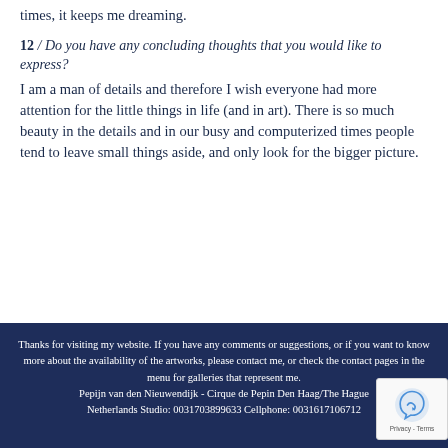times, it keeps me dreaming.
12 / Do you have any concluding thoughts that you would like to express?
I am a man of details and therefore I wish everyone had more attention for the little things in life (and in art). There is so much beauty in the details and in our busy and computerized times people tend to leave small things aside, and only look for the bigger picture.
Thanks for visiting my website. If you have any comments or suggestions, or if you want to know more about the availability of the artworks, please contact me, or check the contact pages in the menu for galleries that represent me. Pepijn van den Nieuwendijk - Cirque de Pepin Den Haag/The Hague Netherlands Studio: 0031703899633 Cellphone: 0031617106712